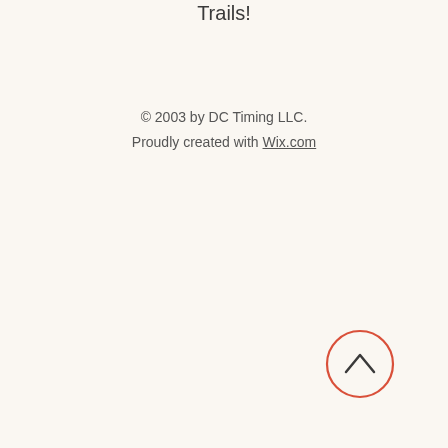Trails!
© 2003 by DC Timing LLC.
Proudly created with Wix.com
[Figure (illustration): A circular back-to-top button with a coral/red-orange outline circle containing a chevron/caret pointing upward, positioned in the lower right area of the page.]